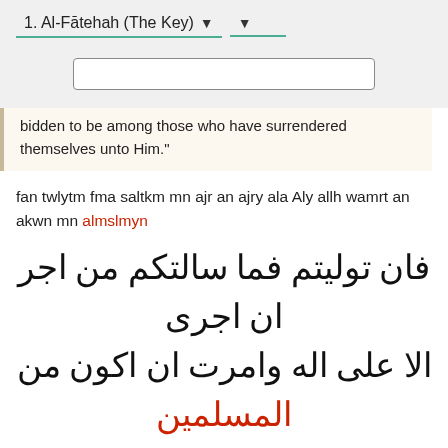1. Al-Fātehah (The Key)
bidden to be among those who have surrendered themselves unto Him."
fan twlytm fma saltkm mn ajr an ajry ala Aly allh wamrt an akwn mn almslmyn
[Figure (other): Arabic text: فان توليتم فما سالتكم من اجر ان اجرى الا على اله وامرت ان اكون من المسلمين]
70   10:84
And Moses said: "O my people! If you believe in God, place your trust in Him -if you have [truly] surrendered yourselves unto Him!"